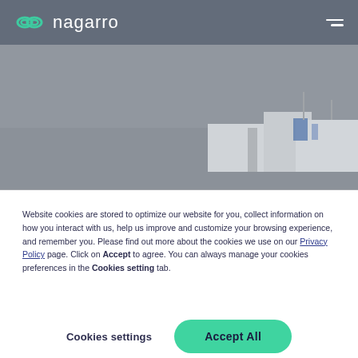[Figure (screenshot): Nagarro website header with logo (teal infinity-like icon and 'nagarro' text) on a grey navigation bar, hamburger menu icon on the right, over a grey industrial/aerial hero image]
Website cookies are stored to optimize our website for you, collect information on how you interact with us, help us improve and customize your browsing experience, and remember you. Please find out more about the cookies we use on our Privacy Policy page. Click on Accept to agree. You can always manage your cookies preferences in the Cookies setting tab.
Cookies settings
Accept All